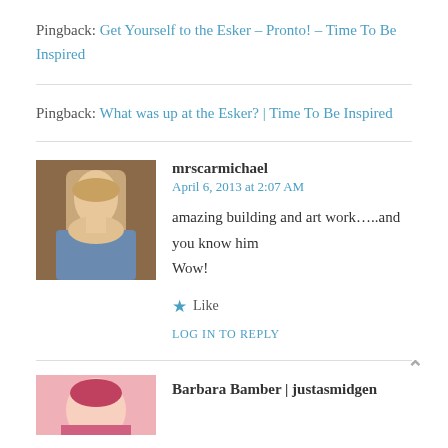Pingback: Get Yourself to the Esker – Pronto! – Time To Be Inspired
Pingback: What was up at the Esker? | Time To Be Inspired
mrscarmichael
April 6, 2013 at 2:07 AM
amazing building and art work…..and you know him Wow!
★ Like
LOG IN TO REPLY
Barbara Bamber | justasmidgen